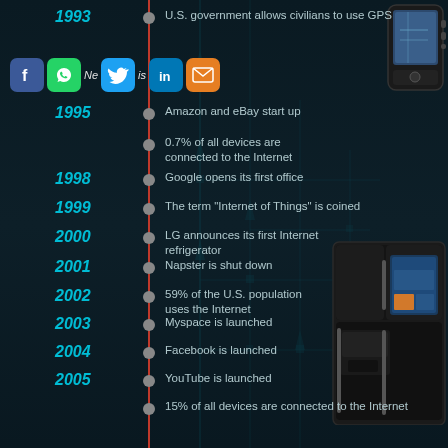[Figure (infographic): Internet of Things timeline infographic with dark teal background, red vertical timeline line, circuit board pattern, GPS device photo top-right, smart refrigerator photo right-middle. Social media icons (Facebook, WhatsApp, Twitter, LinkedIn, email) shown near 1994 entry.]
1993 • U.S. government allows civilians to use GPS
1994 • Netscape is launched [with social media icons]
1995 • Amazon and eBay start up
• 0.7% of all devices are connected to the Internet
1998 • Google opens its first office
1999 • The term "Internet of Things" is coined
2000 • LG announces its first Internet refrigerator
2001 • Napster is shut down
2002 • 59% of the U.S. population uses the Internet
2003 • Myspace is launched
2004 • Facebook is launched
2005 • YouTube is launched
• 15% of all devices are connected to the Internet
2007 • Fitbit is launched
2008 • More objects are connected to the Internet than people, and the "Internet of Things" is born